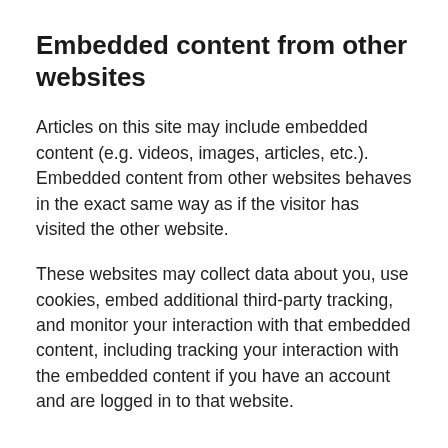Embedded content from other websites
Articles on this site may include embedded content (e.g. videos, images, articles, etc.). Embedded content from other websites behaves in the exact same way as if the visitor has visited the other website.
These websites may collect data about you, use cookies, embed additional third-party tracking, and monitor your interaction with that embedded content, including tracking your interaction with the embedded content if you have an account and are logged in to that website.